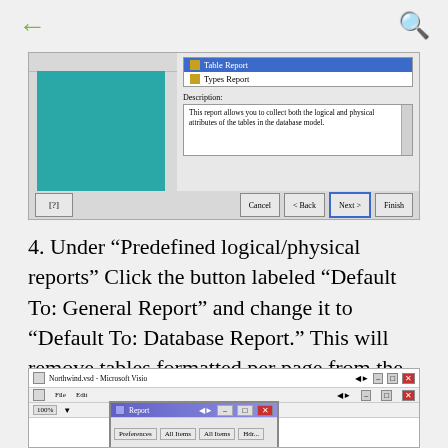← [back arrow]   [search icon]
[Figure (screenshot): Microsoft Visio report wizard dialog showing a list with 'Table Report' selected (highlighted in blue) and 'Types Report' below it. A Description box reads: 'This report allows you to collect both the logical and physical attributes of the tables in the database model.' Buttons at bottom: [?], Cancel, < Back, Next >, Finish. Left side shows a teal/green preview panel.]
4. Under “Predefined logical/physical reports” Click the button labeled "Default To: General Report" and change it to "Default To: Database Report." This will remove tables formatted per page from the end of the report.
[Figure (screenshot): Northwind.vsd - Microsoft Visio window with a Report dialog box open on top, showing tabs for Preferences, All Items, All Items, Header/Footer, and another tab. Window controls visible in upper right.]